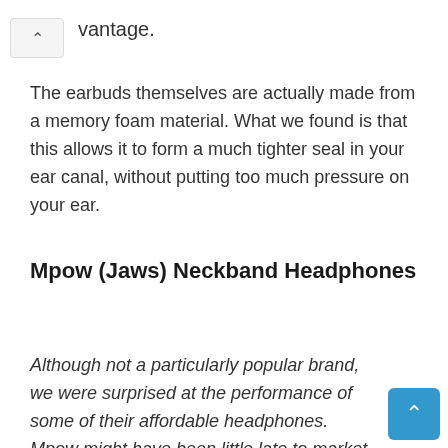vantage.
The earbuds themselves are actually made from a memory foam material. What we found is that this allows it to form a much tighter seal in your ear canal, without putting too much pressure on your ear.
Mpow (Jaws) Neckband Headphones
Although not a particularly popular brand, we were surprised at the performance of some of their affordable headphones. Mpow might have been little late to market with their neckband